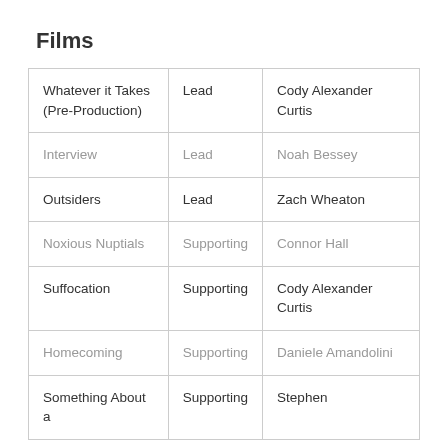Films
| Whatever it Takes (Pre-Production) | Lead | Cody Alexander Curtis |
| Interview | Lead | Noah Bessey |
| Outsiders | Lead | Zach Wheaton |
| Noxious Nuptials | Supporting | Connor Hall |
| Suffocation | Supporting | Cody Alexander Curtis |
| Homecoming | Supporting | Daniele Amandolini |
| Something About a | Supporting | Stephen |